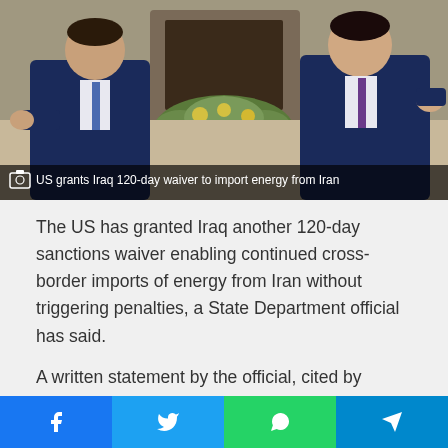[Figure (photo): Two men in navy blue suits seated across from each other in formal chairs, appearing to have a meeting. A floral arrangement is visible in the background.]
US grants Iraq 120-day waiver to import energy from Iran
The US has granted Iraq another 120-day sanctions waiver enabling continued cross-border imports of energy from Iran without triggering penalties, a State Department official has said.
A written statement by the official, cited by industry magazine Iraq Oil Report, said the waiver will allow Iraq to pay for electricity imports from Iran.
“The Secretary of State has renewed the sanctions waiver for Iraq to engage in financial transactions related to the import of